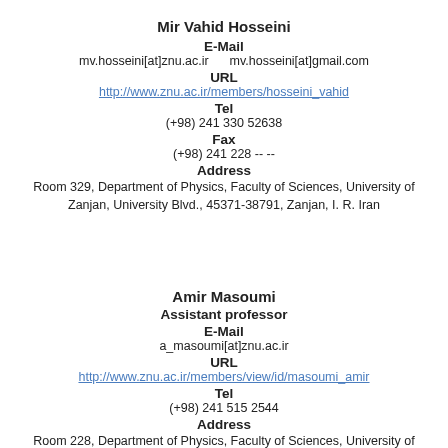Mir Vahid Hosseini
E-Mail
mv.hosseini[at]znu.ac.ir    mv.hosseini[at]gmail.com
URL
http://www.znu.ac.ir/members/hosseini_vahid
Tel
(+98) 241 330 52638
Fax
(+98) 241 228 -- --
Address
Room 329, Department of Physics, Faculty of Sciences, University of Zanjan, University Blvd., 45371-38791, Zanjan, I. R. Iran
Amir Masoumi
Assistant professor
E-Mail
a_masoumi[at]znu.ac.ir
URL
http://www.znu.ac.ir/members/view/id/masoumi_amir
Tel
(+98) 241 515 2544
Address
Room 228, Department of Physics, Faculty of Sciences, University of Zanjan, University Blvd., 45371-38791, Zanjan, I. R. Iran